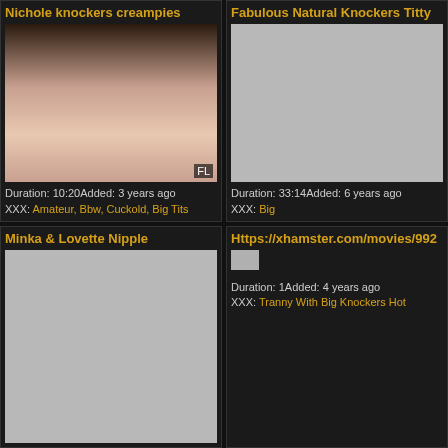Nichole knockers creampies
[Figure (photo): Video thumbnail showing adult content]
Duration: 10:20Added: 3 years ago XXX: Amateur, Bbw, Cuckold, Big Tits
Fabulous Natural Knockers Titty
[Figure (photo): Gray placeholder thumbnail]
Duration: 33:14Added: 6 years ago XXX: Big
Minka & Lovette Nipple
[Figure (photo): Gray placeholder thumbnail]
Https://xhamster.com/movies/992
[Figure (photo): Small broken image thumbnail]
Duration: 1Added: 4 years ago XXX: Tranny With Big Knockers Hot